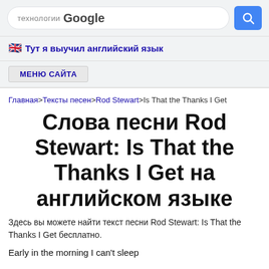технологии Google
🇬🇧 Тут я выучил английский язык
МЕНЮ САЙТА
Главная>Тексты песен>Rod Stewart>Is That the Thanks I Get
Слова песни Rod Stewart: Is That the Thanks I Get на английском языке
Здесь вы можете найти текст песни Rod Stewart: Is That the Thanks I Get бесплатно.
Early in the morning I can't sleep